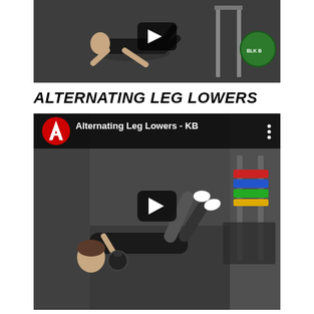[Figure (screenshot): Video thumbnail showing a person doing a plank/push-up exercise in a gym with gym equipment visible including a squat rack and weight plates. A play button overlay is visible.]
ALTERNATING LEG LOWERS
[Figure (screenshot): YouTube video thumbnail titled 'Alternating Leg Lowers - KB' showing a person lying on their back on the gym floor with one leg raised, performing alternating leg lowers. A kettlebell is in their hands. A red circular Axon logo is visible in the top left corner with a play button overlay.]